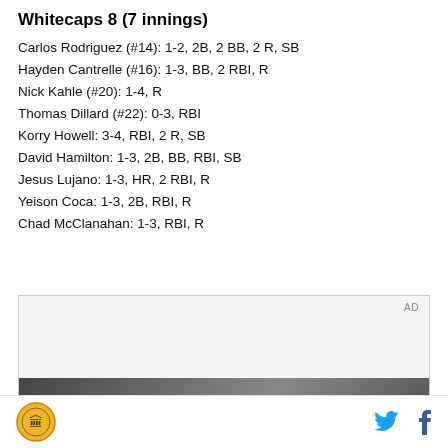Whitecaps 8 (7 innings)
Carlos Rodriguez (#14): 1-2, 2B, 2 BB, 2 R, SB
Hayden Cantrelle (#16): 1-3, BB, 2 RBI, R
Nick Kahle (#20): 1-4, R
Thomas Dillard (#22): 0-3, RBI
Korry Howell: 3-4, RBI, 2 R, SB
David Hamilton: 1-3, 2B, BB, RBI, SB
Jesus Lujano: 1-3, HR, 2 RBI, R
Yeison Coca: 1-3, 2B, RBI, R
Chad McClanahan: 1-3, RBI, R
[Figure (other): Advertisement box with AD label and partial image of building/structure at bottom]
Site logo | Twitter icon | Facebook icon